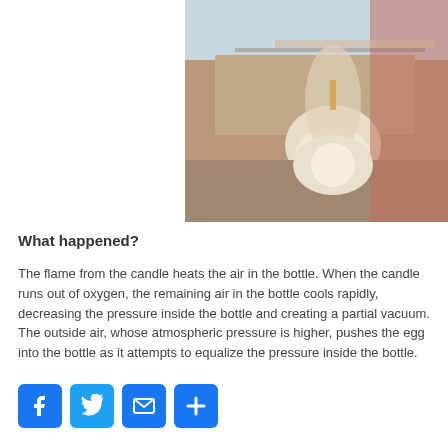[Figure (photo): A child holding an inverted large plastic bottle with an egg or ball visible at the neck of the bottle, sitting at a wooden table near a window.]
What happened?
The flame from the candle heats the air in the bottle. When the candle runs out of oxygen, the remaining air in the bottle cools rapidly, decreasing the pressure inside the bottle and creating a partial vacuum.  The outside air, whose atmospheric pressure is higher, pushes the egg into the bottle as it attempts to equalize the pressure inside the bottle.
[Figure (infographic): Social sharing buttons: Facebook, Twitter, Email, and Share (plus icon)]